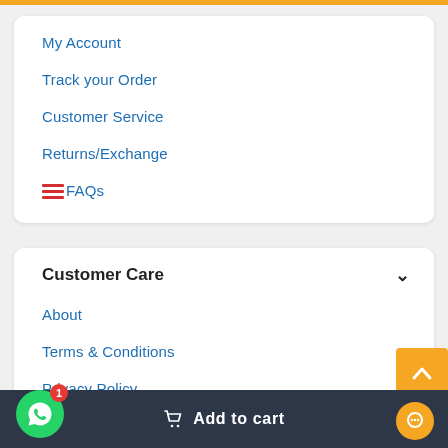My Account
Track your Order
Customer Service
Returns/Exchange
FAQs
Customer Care
About
Terms & Conditions
Privacy Policy
Contact Us
Add to cart